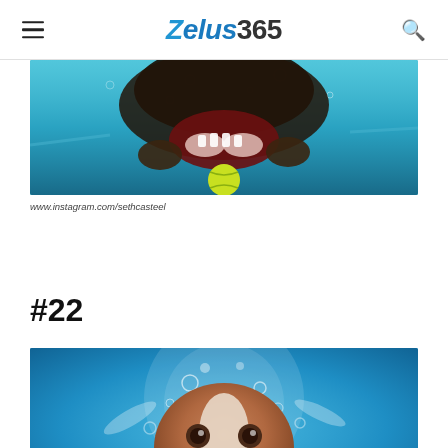Zelus365 — navigation header with hamburger menu and search icon
[Figure (photo): Underwater photo of a dark-colored dog diving to catch a yellow tennis ball in a swimming pool, viewed from below]
www.instagram.com/sethcasteel
#22
[Figure (photo): Underwater photo of a brown and white dog swimming toward the camera in a blue pool, paws reaching forward, mouth open]